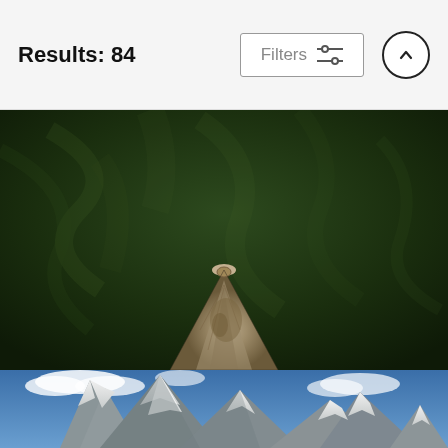Results: 84
Filters
[Figure (photo): Dugout canoe bow pointing through dark green blurred blackwater stream, shot from inside looking forward]
Dugout Canoe In Blackwater Stream
Pete Oxford
$25
[Figure (photo): Snow-capped mountain peaks with blue sky and white clouds — partial view cropped at page bottom]